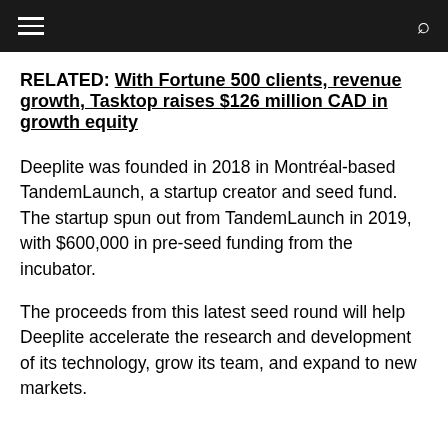navigation bar with hamburger menu and search icon
RELATED: With Fortune 500 clients, revenue growth, Tasktop raises $126 million CAD in growth equity
Deeplite was founded in 2018 in Montréal-based TandemLaunch, a startup creator and seed fund. The startup spun out from TandemLaunch in 2019, with $600,000 in pre-seed funding from the incubator.
The proceeds from this latest seed round will help Deeplite accelerate the research and development of its technology, grow its team, and expand to new markets.